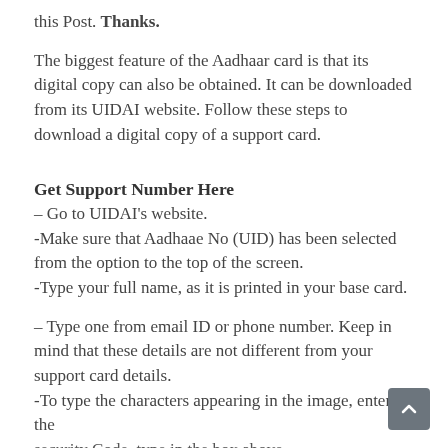this Post. Thanks.
The biggest feature of the Aadhaar card is that its digital copy can also be obtained. It can be downloaded from its UIDAI website. Follow these steps to download a digital copy of a support card.
Get Support Number Here
– Go to UIDAI's website.
-Make sure that Aadhaae No (UID) has been selected from the option to the top of the screen.
-Type your full name, as it is printed in your base card.
– Type one from email ID or phone number. Keep in mind that these details are not different from your support card details.
-To type the characters appearing in the image, enter the security Code, type in the box above.